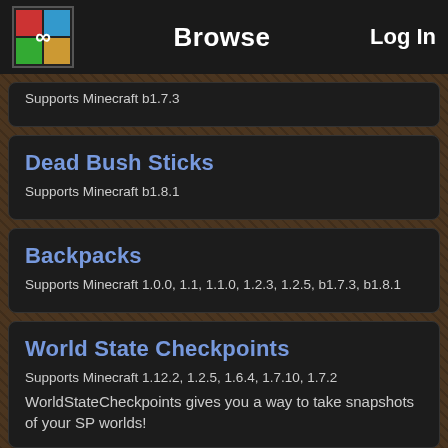Browse | Log In
Supports Minecraft b1.7.3
Dead Bush Sticks
Supports Minecraft b1.8.1
Backpacks
Supports Minecraft 1.0.0, 1.1, 1.1.0, 1.2.3, 1.2.5, b1.7.3, b1.8.1
World State Checkpoints
Supports Minecraft 1.12.2, 1.2.5, 1.6.4, 1.7.10, 1.7.2
WorldStateCheckpoints gives you a way to take snapshots of your SP worlds!